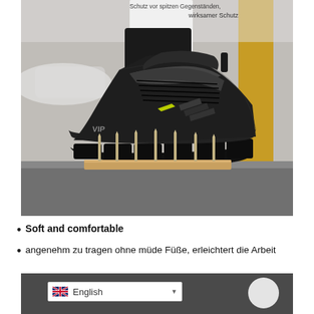[Figure (photo): Black safety boot / work sneaker standing on top of several upright metal nails on a wooden board, demonstrating puncture resistance. Person wearing black jogger pants. Blurred outdoor background with yellow pillar and white car.]
wirksamer Schutz
Soft and comfortable
angenehm zu tragen ohne müde Füße, erleichtert die Arbeit
[Figure (screenshot): Bottom strip showing a language selector dropdown with English flag and 'English' text selected, on a dark grey background.]